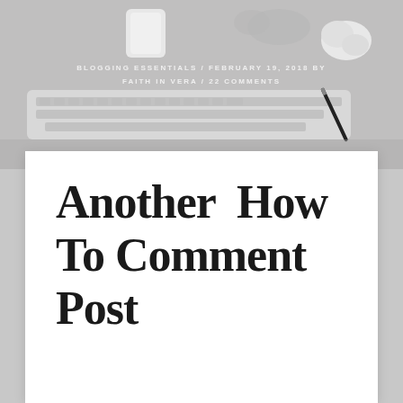[Figure (photo): Black and white photo of a desk workspace with a keyboard, pen, crumpled paper, and hands visible in the background]
BLOGGING ESSENTIALS / FEBRUARY 19, 2018 by FAITH IN VERA / 22 COMMENTS
Another How To Comment Post